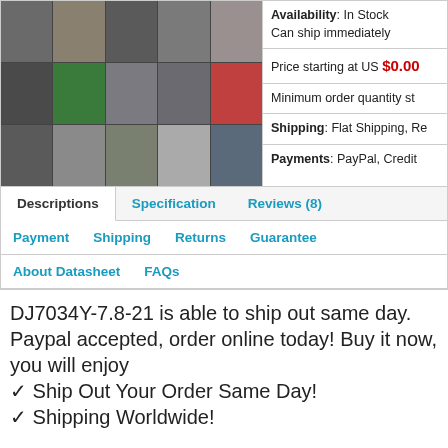[Figure (photo): Product image grid showing various electronic components (capacitors, chips, resistors, connectors) in a mosaic of small thumbnails]
Availability: In Stock Can ship immediately
Price starting at US $0.00
Minimum order quantity st
Shipping: Flat Shipping, Re
Payments: PayPal, Credit
Descriptions  Specification  Reviews (8)
Payment  Shipping  Returns  Guarantee
About Datasheet  FAQs
DJ7034Y-7.8-21 is able to ship out same day. Paypal accepted, order online today! Buy it now, you will enjoy
✓ Ship Out Your Order Same Day!
✓ Shipping Worldwide!